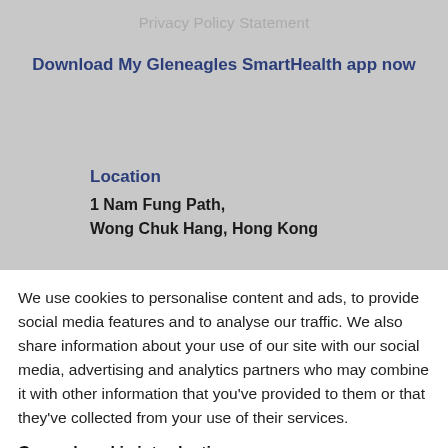Privacy Policy Statement
Download My Gleneagles SmartHealth app now
Location
1 Nam Fung Path,
Wong Chuk Hang, Hong Kong
We use cookies to personalise content and ads, to provide social media features and to analyse our traffic. We also share information about your use of our site with our social media, advertising and analytics partners who may combine it with other information that you've provided to them or that they've collected from your use of their services.
General cookie introduction
I Accept